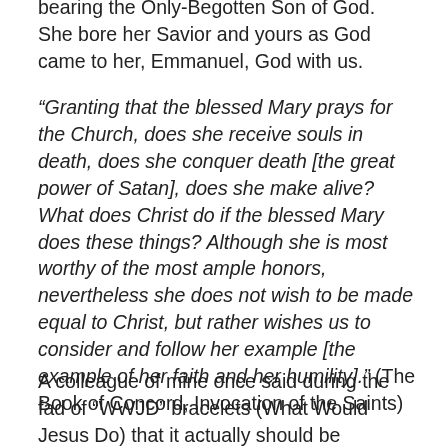bearing the Only-Begotten Son of God.  She bore her Savior and yours as God came to her, Emmanuel, God with us.
“Granting that the blessed Mary prays for the Church, does she receive souls in death, does she conquer death [the great power of Satan], does she make alive? What does Christ do if the blessed Mary does these things? Although she is most worthy of the most ample honors, nevertheless she does not wish to be made equal to Christ, but rather wishes us to consider and follow her example [the example of her faith and her humility].” (The Book of Concord, Invocation of the Saints)
A colleague of mine once said during the fad of “WWJD” bracelets (What Would Jesus Do) that it actually should be “WWMD”: what would Mary do? Good question. The